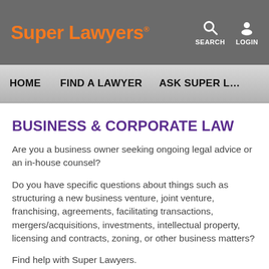Super Lawyers® | SEARCH | LOGIN
HOME | FIND A LAWYER | ASK SUPER L…
BUSINESS & CORPORATE LAW
Are you a business owner seeking ongoing legal advice or an in-house counsel?
Do you have specific questions about things such as structuring a new business venture, joint venture, franchising, agreements, facilitating transactions, mergers/acquisitions, investments, intellectual property, licensing and contracts, zoning, or other business matters?
Find help with Super Lawyers.
Super Lawyers offers a free, comprehensive directory of